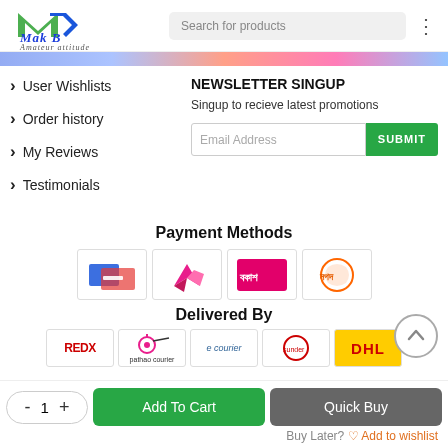[Figure (logo): Mak B Amateur attitude logo with green and blue M shape and stylized text]
Search for products
User Wishlists
Order history
My Reviews
Testimonials
NEWSLETTER SINGUP
Singup to recieve latest promotions
Email Address
Payment Methods
[Figure (infographic): Payment method logos: card payment, Nagad bird logo, bKash, Nagad]
Delivered By
[Figure (infographic): Delivery logos: REDX, Pathao courier, e courier, sundorban courier, DHL]
Add To Cart
Quick Buy
Buy Later?
Add to wishlist